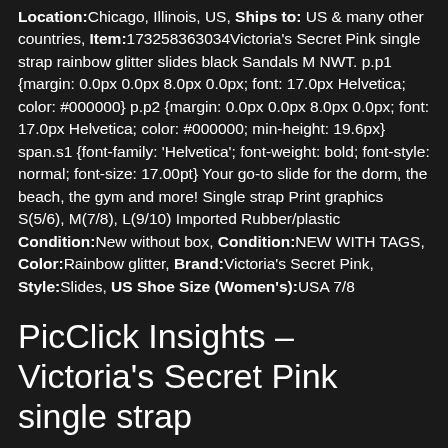Location: Chicago, Illinois, US, Ships to: US & many other countries, Item: 173258363034Victoria's Secret Pink single strap rainbow glitter slides black Sandals M NWT. p.p1 {margin: 0.0px 0.0px 8.0px 0.0px; font: 17.0px Helvetica; color: #000000} p.p2 {margin: 0.0px 0.0px 8.0px 0.0px; font: 17.0px Helvetica; color: #000000; min-height: 19.6px} span.s1 {font-family: 'Helvetica'; font-weight: bold; font-style: normal; font-size: 17.00pt} Your go-to slide for the dorm, the beach, the gym and more! Single strap Print graphics S(5/6), M(7/8), L(9/10) Imported Rubber/plastic Condition: New without box, Condition: NEW WITH TAGS, Color: Rainbow glitter, Brand: Victoria's Secret Pink, Style: Slides, US Shoe Size (Women's): USA 7/8
PicClick Insights - Victoria's Secret Pink single strap